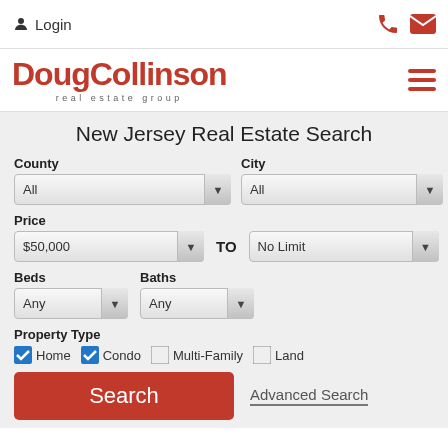Login
[Figure (logo): DougCollinson real estate group logo in red]
New Jersey Real Estate Search
County: All | City: All
Price: $50,000 TO No Limit
Beds: Any | Baths: Any
Property Type: Home (checked), Condo (checked), Multi-Family (unchecked), Land (unchecked)
Search | Advanced Search